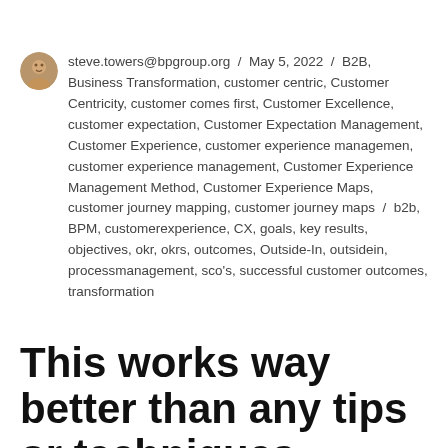steve.towers@bpgroup.org / May 5, 2022 / B2B, Business Transformation, customer centric, Customer Centricity, customer comes first, Customer Excellence, customer expectation, Customer Expectation Management, Customer Experience, customer experience managemen, customer experience management, Customer Experience Management Method, Customer Experience Maps, customer journey mapping, customer journey maps / b2b, BPM, customerexperience, CX, goals, key results, objectives, okr, okrs, outcomes, Outside-In, outsidein, processmanagement, sco's, successful customer outcomes, transformation
This works way better than any tips or techniques